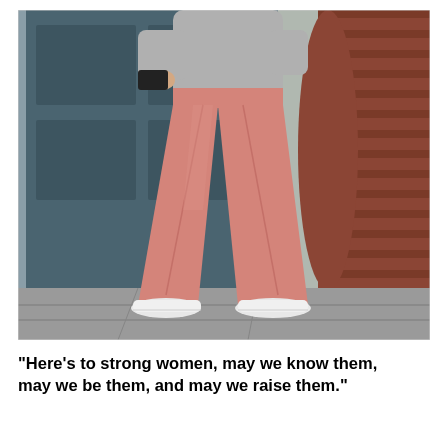[Figure (photo): A person standing on a city sidewalk wearing wide-leg salmon/pink trousers, a grey sweatshirt, and white sneakers. They are standing in front of a teal/slate-blue door and a red brick column/pillar. They are holding a black clutch bag.]
"Here's to strong women, may we know them, may we be them, and may we raise them."